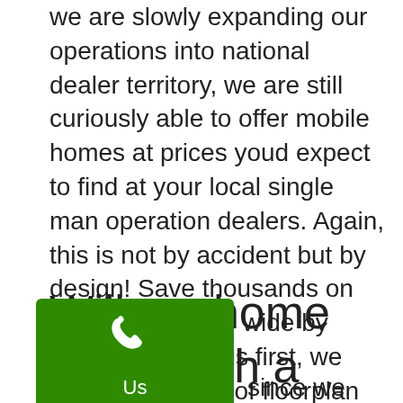we are slowly expanding our operations into national dealer territory, we are still curiously able to offer mobile homes at prices youd expect to find at your local single man operation dealers. Again, this is not by accident but by design! Save thousands on your next double wide by consulting with us first, we have thousands of floorplan designs ready to be built and will give you the best advice we can, where to build, what options are the best bang-for-your-buck, and more. Mobile homes are not just our thing, theyre what we base our entire ethos off of!
Will my home come with a nty?
[Figure (other): Green phone/call button widget with phone icon and 'Us' label]
since we represent so many ors. Most manufacturers are locally